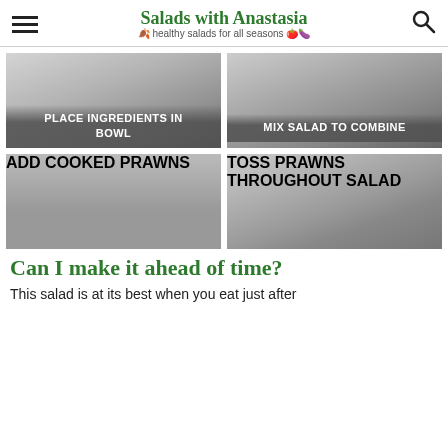Salads with Anastasia — healthy salads for all seasons
[Figure (photo): Step image: PLACE INGREDIENTS IN BOWL — gray gradient placeholder image with white text overlay]
[Figure (photo): Step image: MIX SALAD TO COMBINE — gray gradient placeholder image with white text overlay]
[Figure (photo): Step image: ADD COOKED PRAWNS — gray gradient placeholder image with white text overlay]
[Figure (photo): Step image: TOSS PRAWNS THROUGHOUT SALAD — gray gradient placeholder image with white text overlay]
Can I make it ahead of time?
This salad is at its best when you eat just after